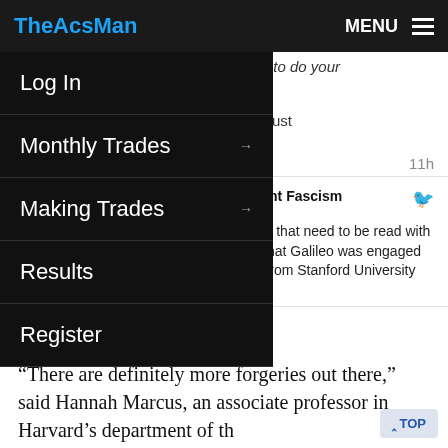TheAcsMan | MENU
RiezmenZydeco band, you really have to do your work
#Excel "Future Value" function is a must
11h
ge Acs))) We Defeated Nascent Fascism @TheAcsMan
Here is a perfect example of things that need to be read with a careful eye, unless you believe that Galileo was engaged in correspondence with someone from Stanford University @nytimes
be discovered.
“There are definitely more forgeries out there,” said Hannah Marcus, an associate professor in Harvard’s department of the history of science who is writing a book
Log In
Monthly Trades
Making Trades
Results
Register